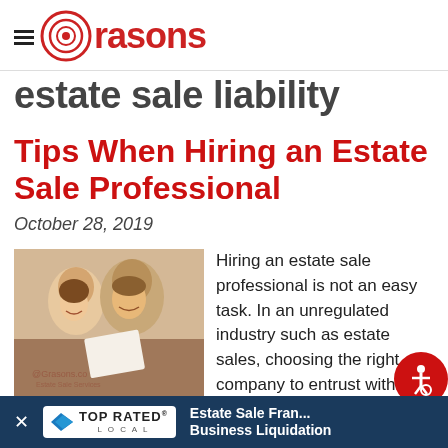Grasons
estate sale liability
Tips When Hiring an Estate Sale Professional
October 28, 2019
[Figure (photo): A man and woman smiling, looking at a document together, with Grasons.co watermark in the lower left corner.]
Hiring an estate sale professional is not an easy task.  In an unregulated industry such as estate sales, choosing the right company to entrust with...
TOP RATED LOCAL — Estate Sale Franchise · Business Liquidation